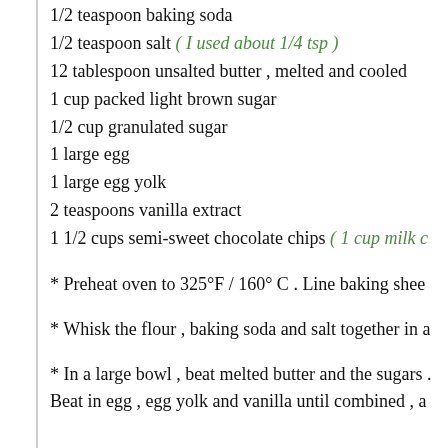1/2 teaspoon baking soda
1/2 teaspoon salt ( I used about 1/4 tsp )
12 tablespoon unsalted butter , melted and cooled
1 cup packed light brown sugar
1/2 cup granulated sugar
1 large egg
1 large egg yolk
2 teaspoons vanilla extract
1 1/2 cups semi-sweet chocolate chips ( 1 cup milk c
* Preheat oven to 325°F / 160° C . Line baking shee
* Whisk the flour , baking soda and salt together in a
* In a large bowl , beat melted butter and the sugars . Beat in egg , egg yolk and vanilla until combined , a